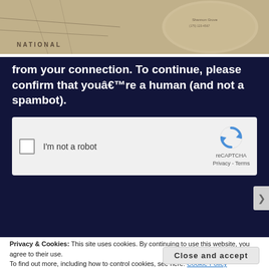[Figure (photo): Photograph of paper maps, partially rolled up, showing topographic and road map details with 'NATIONAL' text visible]
from your connection. To continue, please confirm that youâ€™re a human (and not a spambot).
[Figure (other): reCAPTCHA widget with checkbox 'I'm not a robot' and reCAPTCHA logo with Privacy - Terms links]
Privacy & Cookies: This site uses cookies. By continuing to use this website, you agree to their use.
To find out more, including how to control cookies, see here: Cookie Policy
Close and accept